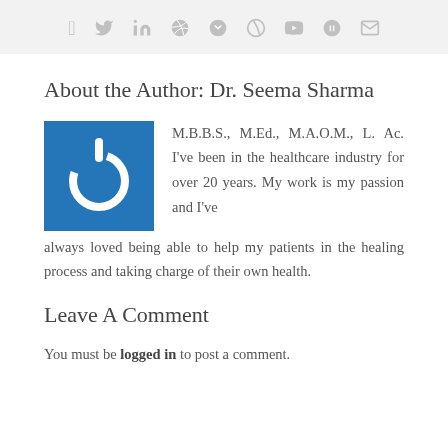[Figure (other): Social media share bar with icons for Facebook, Twitter, LinkedIn, Reddit, WhatsApp, Tumblr, Pinterest, VK, and Email on a light gray background]
About the Author: Dr. Seema Sharma
[Figure (illustration): Blue square icon with a white power/on button symbol (circle with line at top)]
M.B.B.S., M.Ed., M.A.O.M., L. Ac. I've been in the healthcare industry for over 20 years. My work is my passion and I've always loved being able to help my patients in the healing process and taking charge of their own health.
Leave A Comment
You must be logged in to post a comment.